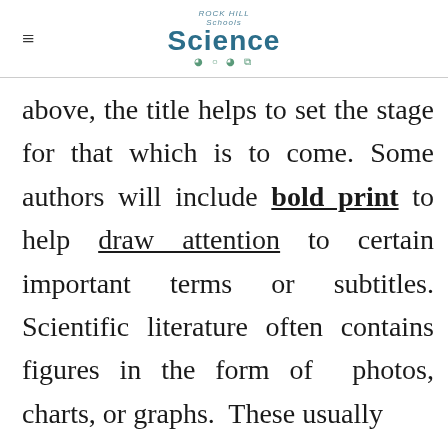Rock Hill Schools Science
above, the title helps to set the stage for that which is to come. Some authors will include bold print to help draw attention to certain important terms or subtitles. Scientific literature often contains figures in the form of photos, charts, or graphs. These usually